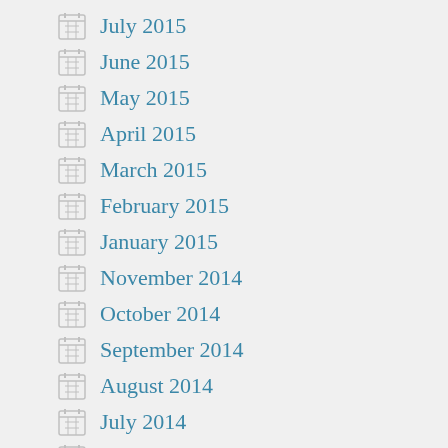July 2015
June 2015
May 2015
April 2015
March 2015
February 2015
January 2015
November 2014
October 2014
September 2014
August 2014
July 2014
June 2014
May 2014